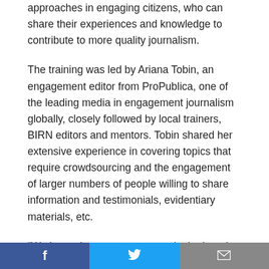approaches in engaging citizens, who can share their experiences and knowledge to contribute to more quality journalism.
The training was led by Ariana Tobin, an engagement editor from ProPublica, one of the leading media in engagement journalism globally, closely followed by local trainers, BIRN editors and mentors. Tobin shared her extensive experience in covering topics that require crowdsourcing and the engagement of larger numbers of people willing to share information and testimonials, evidentiary materials, etc.
“We know there are angry, overlooked, and systematically harmed people out there with stories to tell or insights that add up into powerful findings. We mobilize those people and lend journalistic muscle to their stories,” Tobin explained